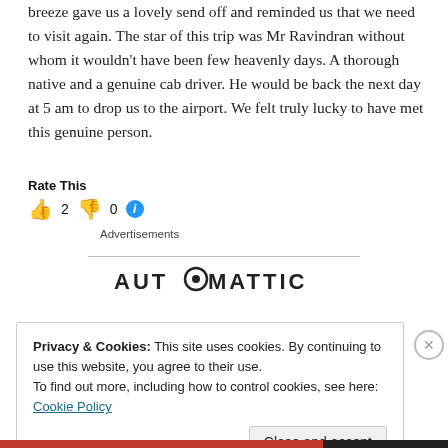breeze gave us a lovely send off and reminded us that we need to visit again. The star of this trip was Mr Ravindran without whom it wouldn't have been few heavenly days. A thorough native and a genuine cab driver. He would be back the next day at 5 am to drop us to the airport. We felt truly lucky to have met this genuine person.
Rate This 👍 2 👎 0 ℹ Advertisements
[Figure (logo): AUTOMATTIC logo with stylized circle-O]
Privacy & Cookies: This site uses cookies. By continuing to use this website, you agree to their use. To find out more, including how to control cookies, see here: Cookie Policy Close and accept